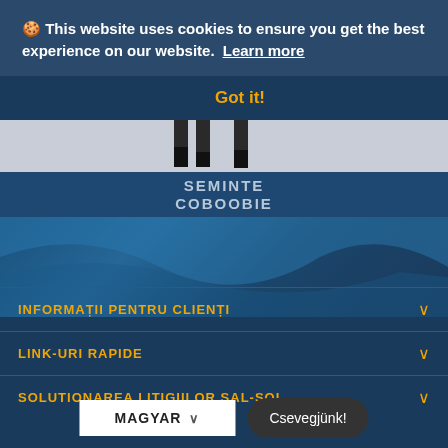In ziua de 25 August nu se proceseaza comenzile. Se vor relua dupa
🍪 This website uses cookies to ensure you get the best experience on our website. Learn more
Got it!
0 LEI  ×
[Figure (screenshot): Shopping cart icon with 0 items, orange background]
SEMINTE
COBOOBIE
INFORMAȚII PENTRU CLIENȚI
LINK-URI RAPIDE
SOLUTIONAREA LITIGIILOR SAL-SOL
MAGYAR
Csevegjünk!